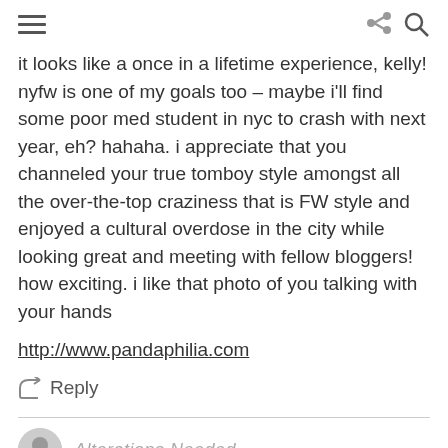[hamburger menu] [share icon] [search icon]
it looks like a once in a lifetime experience, kelly! nyfw is one of my goals too – maybe i'll find some poor med student in nyc to crash with next year, eh? hahaha. i appreciate that you channeled your true tomboy style amongst all the over-the-top craziness that is FW style and enjoyed a cultural overdose in the city while looking great and meeting with fellow bloggers! how exciting. i like that photo of you talking with your hands
http://www.pandaphilia.com
↩ Reply
Alterations Needed